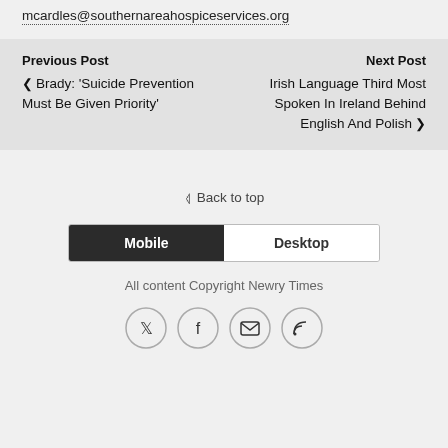mcardles@southernareahospiceservices.org
Previous Post
‹ Brady: 'Suicide Prevention Must Be Given Priority'
Next Post
Irish Language Third Most Spoken In Ireland Behind English And Polish ›
« Back to top
Mobile | Desktop
All content Copyright Newry Times